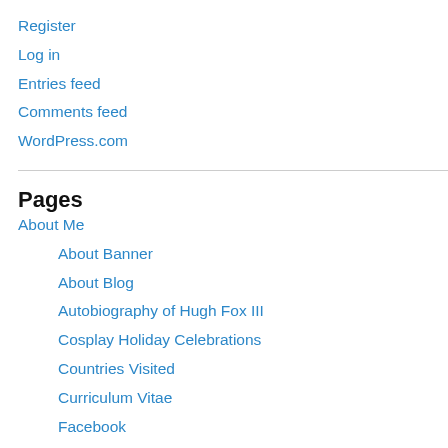Register
Log in
Entries feed
Comments feed
WordPress.com
Pages
About Me
About Banner
About Blog
Autobiography of Hugh Fox III
Cosplay Holiday Celebrations
Countries Visited
Curriculum Vitae
Facebook
Hobbies
Hugh Fox III Comic Book Autobiography
My Asian Adventures as Santa Claus